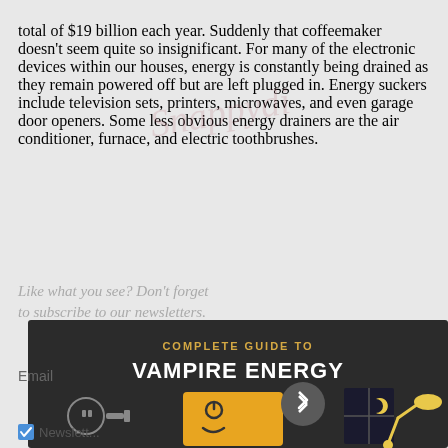total of $19 billion each year. Suddenly that coffeemaker doesn't seem quite so insignificant. For many of the electronic devices within our houses, energy is constantly being drained as they remain powered off but are left plugged in. Energy suckers include television sets, printers, microwaves, and even garage door openers. Some less obvious energy drainers are the air conditioner, furnace, and electric toothbrushes.
[Figure (infographic): Complete Guide to Vampire Energy infographic header showing dark background with title text 'COMPLETE GUIDE TO VAMPIRE ENERGY' in white/gold, and illustrated icons including a plug/outlet, a glowing tablet/monitor with a face, a Bluetooth symbol, and a desk lamp against a night window.]